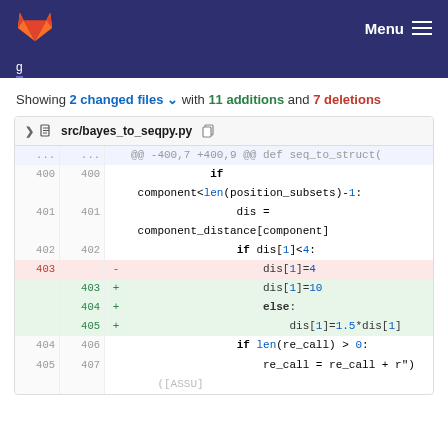Menu
Showing 2 changed files with 11 additions and 7 deletions
src/bayes_to_seqpy.py diff showing lines 400-407 with deletion of dis[1]=4 and additions of dis[1]=10, else: dis[1]=1.5*dis[1]